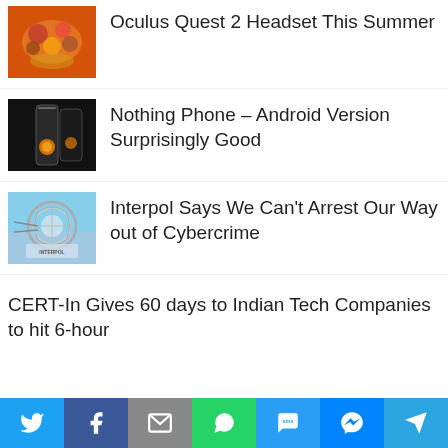Oculus Quest 2 Headset This Summer
Nothing Phone – Android Version Surprisingly Good
Interpol Says We Can't Arrest Our Way out of Cybercrime
CERT-In Gives 60 days to Indian Tech Companies to hit 6-hour
[Figure (infographic): Social sharing bar with icons for Twitter, Facebook, Email, WhatsApp, SMS, Messenger, Telegram]